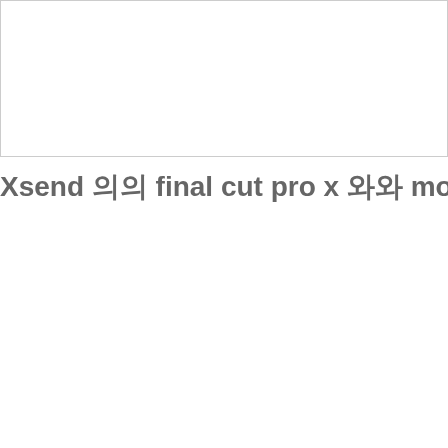[Figure (other): Empty white box with border at top of page]
Xsend 의 final cut pro x 와 motion 에서사용하기, 또는fcp7 to mot